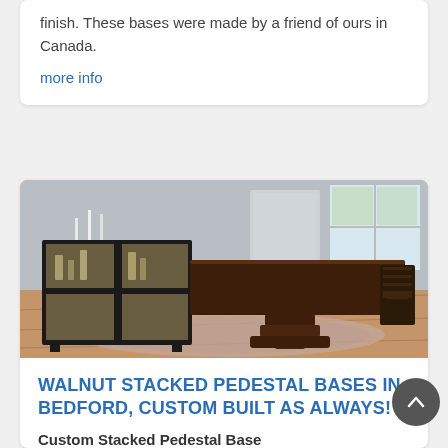finish. These bases were made by a friend of ours in Canada.
more info
[Figure (photo): A dining room with a dark walnut stacked pedestal dining table on a patterned area rug, with a black glass display cabinet to the left and a ladder-back chair to the right, in a bright room with windows.]
WALNUT STACKED PEDESTAL BASES IN BEDFORD, CUSTOM BUILT AS ALWAYS!
Custom Stacked Pedestal Base